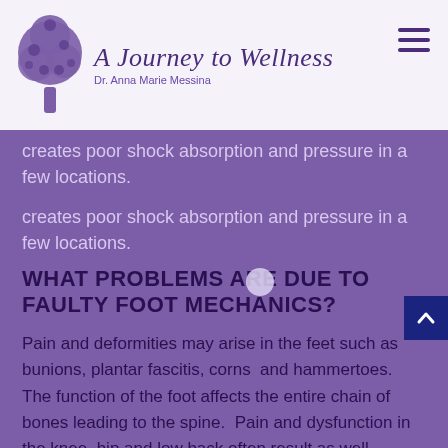A Journey to Wellness — Dr. Anna Marie Messina
creates poor shock absorption and pressure in a few locations.
WHAT PROBLEMS ARE DUE TO FAULTY FOOT MECHANICS?
Pain and deformities may arise in the feet such as bunions, plantar fascitis, corns and hammertoes. The function of the foot affects the entire chain of bones leading to the spine. Pain and dysfunction in the knee, hip and low back often result as well. There are over thirty common issues related to poor foot function.
CAN I PREVENT OR CORRECT PROBLEMS?
Yes! If the problem is caught early enough, pain and